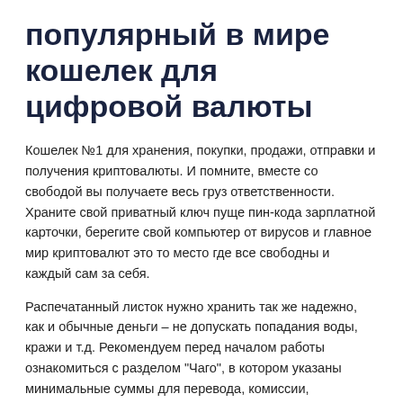популярный в мире кошелек для цифровой валюты
Кошелек №1 для хранения, покупки, продажи, отправки и получения криптовалюты. И помните, вместе со свободой вы получаете весь груз ответственности. Храните свой приватный ключ пуще пин-кода зарплатной карточки, берегите свой компьютер от вирусов и главное мир криптовалют это то место где все свободны и каждый сам за себя.
Распечатанный листок нужно хранить так же надежно, как и обычные деньги – не допускать попадания воды, кражи и т.д. Рекомендуем перед началом работы ознакомиться с разделом "Чаго", в котором указаны минимальные суммы для перевода, комиссии, зарегистрировать крипто кошелек количество подтверждений в сети для зачисления криптовалюты. Приватные ключи создаются и хранятся в браузере, что является большим преимуществом. В разделе "Backup"